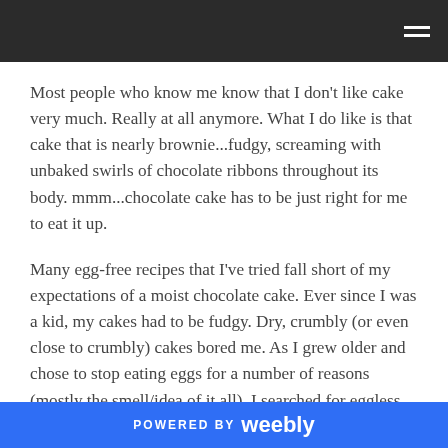Most people who know me know that I don't like cake very much. Really at all anymore. What I do like is that cake that is nearly brownie...fudgy, screaming with unbaked swirls of chocolate ribbons throughout its body. mmm...chocolate cake has to be just right for me to eat it up.
Many egg-free recipes that I've tried fall short of my expectations of a moist chocolate cake. Ever since I was a kid, my cakes had to be fudgy. Dry, crumbly (or even close to crumbly) cakes bored me. As I grew older and chose to stop eating eggs for a number of reasons (mostly the smell/idea of it all), I searched for eggless cakes that highlighted moisture. Because we all know a
POWERED BY weebly